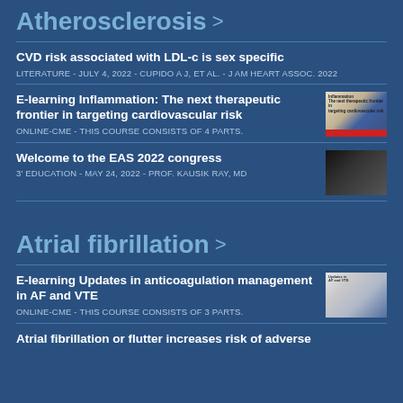Atherosclerosis >
CVD risk associated with LDL-c is sex specific
LITERATURE - JULY 4, 2022 - CUPIDO A J, ET AL. - J AM HEART ASSOC. 2022
E-learning Inflammation: The next therapeutic frontier in targeting cardiovascular risk
ONLINE-CME - THIS COURSE CONSISTS OF 4 PARTS.
Welcome to the EAS 2022 congress
3' EDUCATION - MAY 24, 2022 - PROF. KAUSIK RAY, MD
Atrial fibrillation >
E-learning Updates in anticoagulation management in AF and VTE
ONLINE-CME - THIS COURSE CONSISTS OF 3 PARTS.
Atrial fibrillation or flutter increases risk of adverse